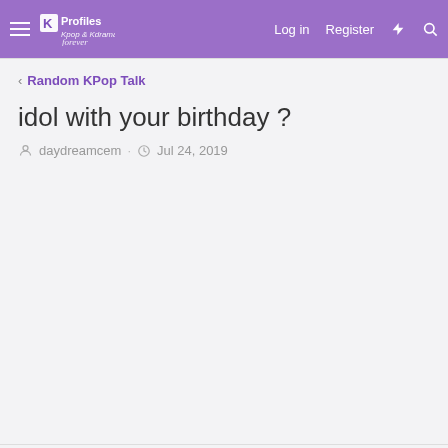KProfiles | Log in | Register
Random KPop Talk
idol with your birthday ?
daydreamcem · Jul 24, 2019